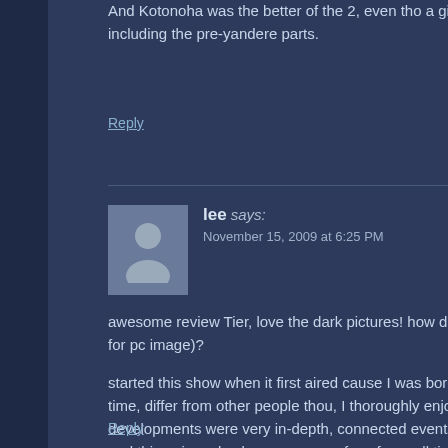And Kotonoha was the better of the 2, even tho a girl lik including the pre-yandere parts.
Reply
lee says:
November 15, 2009 at 6:25 PM
awesome review Tier, love the dark pictures! how did yo for pc image)?
started this show when it first aired cause I was bored to time, differ from other people thou, I thoroughly enjoyed developments were very in-depth, connected events lea and this anime also becomes one of my favor all time.
I was just reading wiki about reason for delaying of the f
Reply